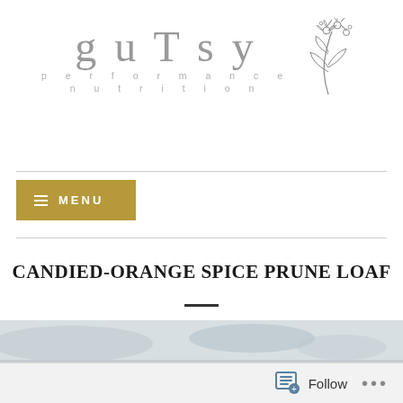[Figure (logo): GUTSy performance nutrition logo with cursive handwritten style text and botanical flower illustration]
[Figure (screenshot): Gold/olive colored MENU navigation button with hamburger icon lines]
CANDIED-ORANGE SPICE PRUNE LOAF
[Figure (photo): Partial photo of food item at bottom of page]
[Figure (screenshot): WordPress Follow bar at the bottom with follow icon and ellipsis menu]